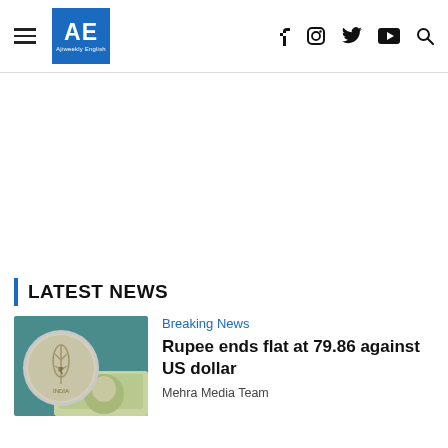AE Ajiweekly English — f, Instagram, Twitter, YouTube, Search icons
[Figure (other): White advertisement space]
LATEST NEWS
[Figure (photo): Indian rupee coin resting on US dollar bills, teal background]
Breaking News
Rupee ends flat at 79.86 against US dollar
Mehra Media Team